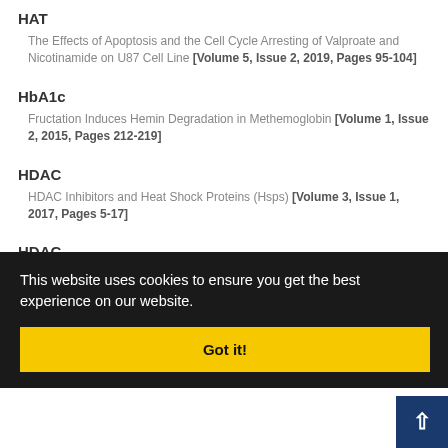HAT
The Effects of Apoptosis and the Cell Cycle Arresting of Valproate and Nicotinamide on U87 Cell Line [Volume 5, Issue 2, 2019, Pages 95-104]
HbA1c
Fructation Induces Hemin Degradation in Methemoglobin [Volume 1, Issue 2, 2015, Pages 212-219]
HDAC
HDAC Inhibitors and Heat Shock Proteins (Hsps) [Volume 3, Issue 1, 2017, Pages 5-17]
HDAC
The Effects of Apoptosis and the Cell Cycle Arresting of Valproate and Nicotinamide on U87 Cell Line [Volume 5, Issue 2, 2019, Pages 95-...
[Volume 3, Issue 1, ...
Toxic Effects of the Iranian Snake (Naja naja oxiana) Venom on Heart [Volume 2, Issue 2, 2016, Pages 97-101]
This website uses cookies to ensure you get the best experience on our website.